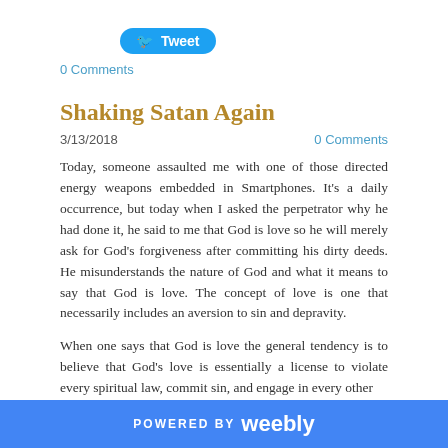[Figure (other): Twitter Tweet button (blue rounded rectangle with bird icon and 'Tweet' label)]
0 Comments
Shaking Satan Again
3/13/2018
0 Comments
Today, someone assaulted me with one of those directed energy weapons embedded in Smartphones. It's a daily occurrence, but today when I asked the perpetrator why he had done it, he said to me that God is love so he will merely ask for God's forgiveness after committing his dirty deeds. He misunderstands the nature of God and what it means to say that God is love. The concept of love is one that necessarily includes an aversion to sin and depravity.
When one says that God is love the general tendency is to believe that God's love is essentially a license to violate every spiritual law, commit sin, and engage in every other
POWERED BY weebly